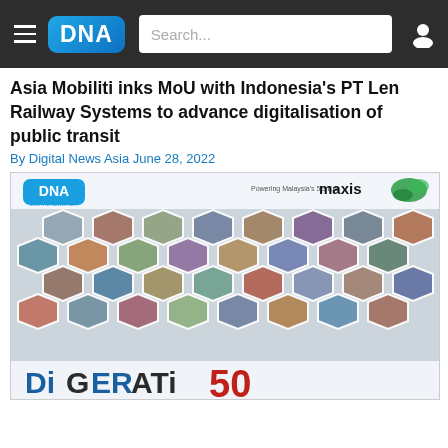DNA — Digital News Asia navigation bar with logo, search box, and user icon
Asia Mobiliti inks MoU with Indonesia's PT Len Railway Systems to advance digitalisation of public transit
By Digital News Asia June 28, 2022
[Figure (photo): DNA magazine cover image showing a collage of people's headshots arranged in hexagonal frames, with the DNA and Maxis logos at the top, and the text 'DIGERATI 50' partially visible at the bottom.]